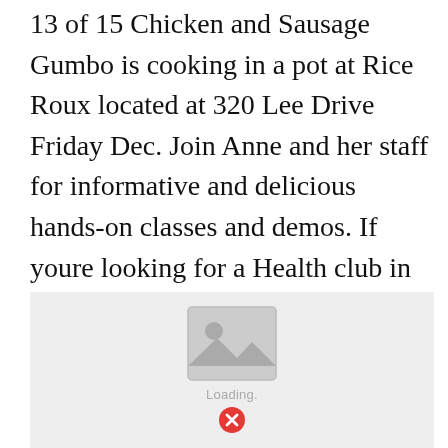13 of 15 Chicken and Sausage Gumbo is cooking in a pot at Rice Roux located at 320 Lee Drive Friday Dec. Join Anne and her staff for informative and delicious hands-on classes and demos. If youre looking for a Health club in Baton Rouge Cajun Fitness welcomes you.
[Figure (photo): Image placeholder with a landscape/photo icon in grey, showing a loading error state with a red X circle and 'Loading.' text below.]